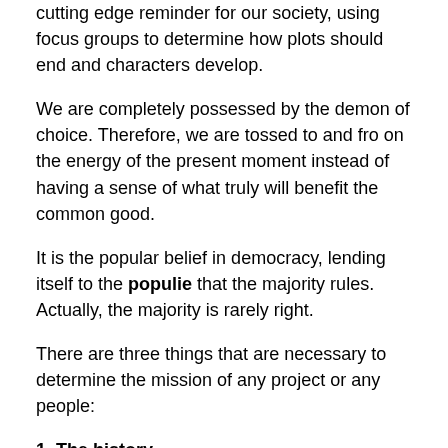cutting edge reminder for our society, using focus groups to determine how plots should end and characters develop.
We are completely possessed by the demon of choice. Therefore, we are tossed to and fro on the energy of the present moment instead of having a sense of what truly will benefit the common good.
It is the popular belief in democracy, lending itself to the populie that the majority rules. Actually, the majority is rarely right.
There are three things that are necessary to determine the mission of any project or any people:
1. The history.
If we're going to run our country thinking that there's power